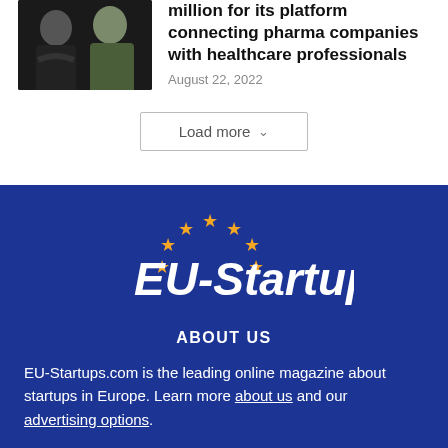[Figure (photo): Two men posing for a photo against a dark background]
million for its platform connecting pharma companies with healthcare professionals
August 22, 2022
Load more
[Figure (logo): EU-Startups logo with yellow stars arranged in an arc and white italic text on dark blue background]
ABOUT US
EU-Startups.com is the leading online magazine about startups in Europe. Learn more about us and our advertising options.